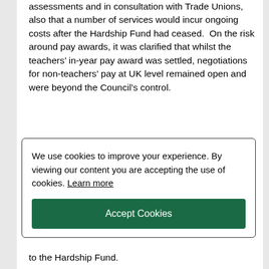assessments and in consultation with Trade Unions, also that a number of services would incur ongoing costs after the Hardship Fund had ceased.  On the risk around pay awards, it was clarified that whilst the teachers' in-year pay award was settled, negotiations for non-teachers' pay at UK level remained open and were beyond the Council's control.
In response to the questions, the
We use cookies to improve your experience. By viewing our content you are accepting the use of cookies. Learn more
Accept Cookies
to the Hardship Fund.